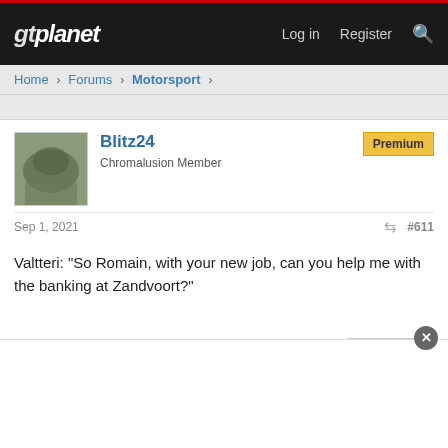gtplanet  Log in  Register
Home > Forums > Motorsport >
Blitz24
Chromalusion Member
Premium
Sep 1, 2021   #611
Valtteri: "So Romain, with your new job, can you help me with the banking at Zandvoort?"
Reply
X140